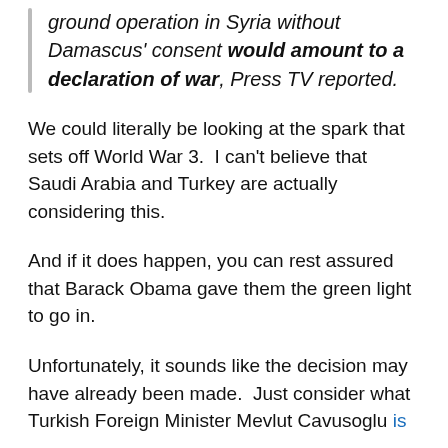ground operation in Syria without Damascus' consent would amount to a declaration of war, Press TV reported.
We could literally be looking at the spark that sets off World War 3.  I can't believe that Saudi Arabia and Turkey are actually considering this.
And if it does happen, you can rest assured that Barack Obama gave them the green light to go in.
Unfortunately, it sounds like the decision may have already been made.  Just consider what Turkish Foreign Minister Mevlut Cavusoglu is